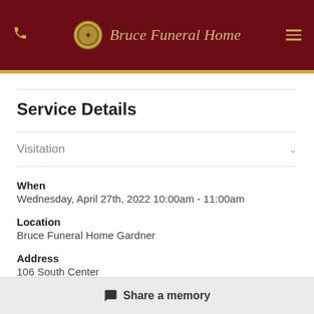Bruce Funeral Home
Service Details
Visitation
When
Wednesday, April 27th, 2022 10:00am - 11:00am
Location
Bruce Funeral Home Gardner
Address
106 South Center
Share a memory